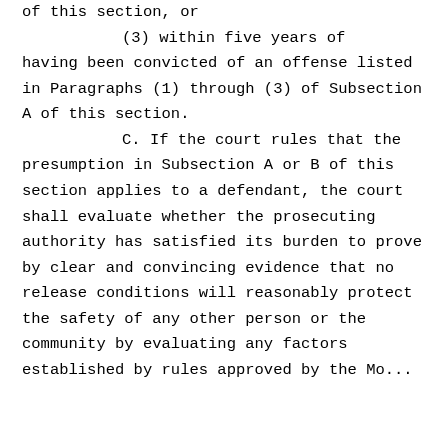of this section, or
            (3) within five years of having been convicted of an offense listed in Paragraphs (1) through (3) of Subsection A of this section.
            C. If the court rules that the presumption in Subsection A or B of this section applies to a defendant, the court shall evaluate whether the prosecuting authority has satisfied its burden to prove by clear and convincing evidence that no release conditions will reasonably protect the safety of any other person or the community by evaluating any factors established by rules approved by the Mo...